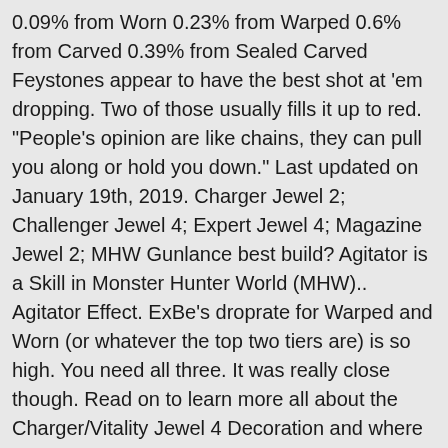0.09% from Worn 0.23% from Warped 0.6% from Carved 0.39% from Sealed Carved Feystones appear to have the best shot at 'em dropping. Two of those usually fills it up to red. "People's opinion are like chains, they can pull you along or hold you down." Last updated on January 19th, 2019. Charger Jewel 2; Challenger Jewel 4; Expert Jewel 4; Magazine Jewel 2; MHW Gunlance best build? Agitator is a Skill in Monster Hunter World (MHW).. Agitator Effect. ExBe's droprate for Warped and Worn (or whatever the top two tiers are) is so high. You need all three. It was really close though. Read on to learn more all about the Charger/Vitality Jewel 4 Decoration and where to get it! For Monster Hunter: World on the PlayStation 4, a GameFAQs message board topic titled "Charger Jewel....." - Page 2. In Monster Hunter World (MHW), Decorations are at the core of any build you create. "People's opinion are like chains, they can pull you along or hold you down." Every Ancient Feystone has a 5.6% chance of giving you an Expert Jewel 1 or an x/Expert Jewel 4, both of which give one level of Critical Eye. ...that's just one jewel. Charger Jwl 3; Follow @kiranico_en . Read on to learn more all about the Charger Jewel 2